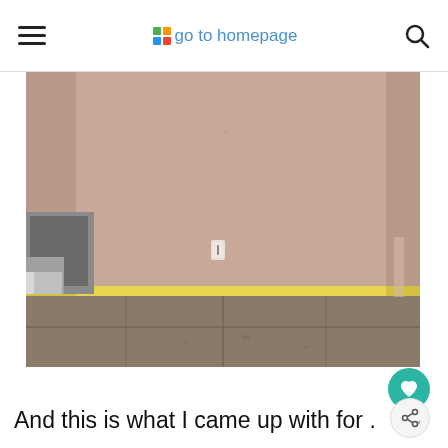go to homepage
[Figure (photo): Empty room with pinkish-beige walls, yellow painter's tape along the baseboard, bare concrete/tile floor with debris, and a metal structure (firebox or appliance) in the lower left corner. A light switch is visible on the far wall.]
And this is what I came up with for .